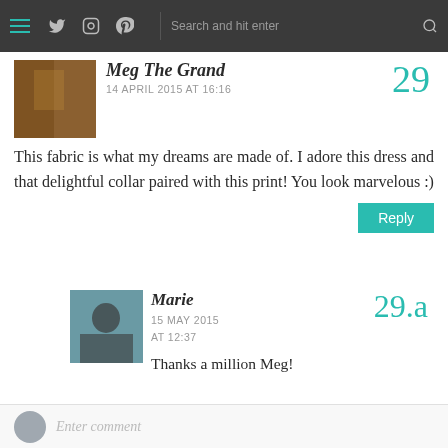Navigation bar with hamburger menu, Twitter, Instagram, Pinterest icons, and search bar
Meg The Grand
14 APRIL 2015 AT 16:16
This fabric is what my dreams are made of. I adore this dress and that delightful collar paired with this print! You look marvelous :)
Marie
15 MAY 2015 AT 12:37
Thanks a million Meg!
Enter comment